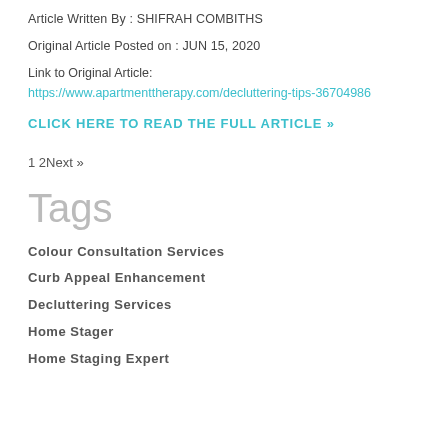Article Written By : SHIFRAH COMBITHS
Original Article Posted on : JUN 15, 2020
Link to Original Article:
https://www.apartmenttherapy.com/decluttering-tips-36704986
CLICK HERE TO READ THE FULL ARTICLE »
1 2Next »
Tags
Colour Consultation Services
Curb Appeal Enhancement
Decluttering Services
Home Stager
Home Staging Expert